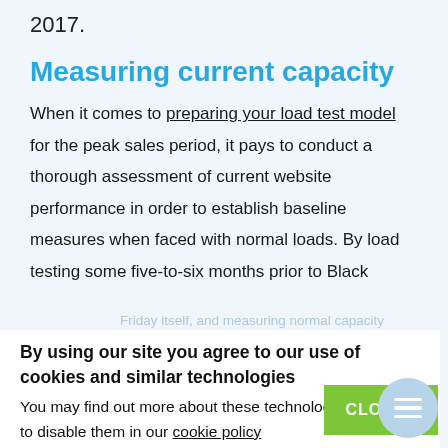2017.
Measuring current capacity
When it comes to preparing your load test model for the peak sales period, it pays to conduct a thorough assessment of current website performance in order to establish baseline measures when faced with normal loads. By load testing some five-to-six months prior to Black
Friday itself, and measuring normal capacity performance, you can pinpoint where issues and weaknesses may arise and those refinements to your code that need to be addressed. You may also consider developing a pared-down version of your site specifically to cover the demands of Black Friday. If so, this is also the
By using our site you agree to our use of cookies and similar technologies
You may find out more about these technologies and how to disable them in our cookie policy
CLOSE ›